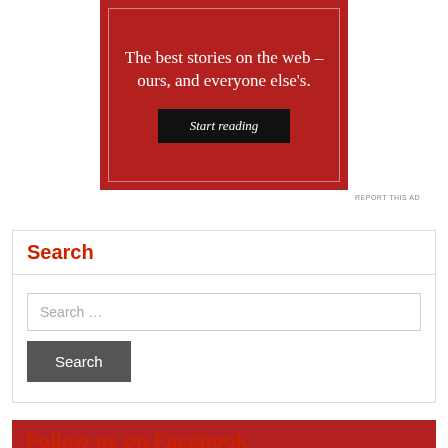[Figure (illustration): Red advertisement banner with white text reading 'The best stories on the web – ours, and everyone else's.' and a dark 'Start reading' button, with a white inner border.]
REPORT THIS AD
Search
Search …
Search
Follow us on Facebook